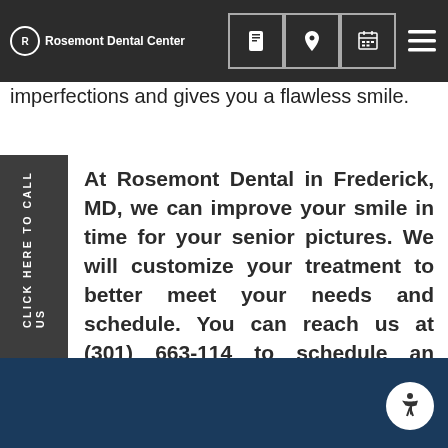Rosemont Dental Center
you from smiling or meeting people, dental bonding can help fix these cosmetic issues. The bonding process helps reverse the teeth's imperfections and gives you a flawless smile.
CLICK HERE TO CALL US
At Rosemont Dental in Frederick, MD, we can improve your smile in time for your senior pictures. We will customize your treatment to better meet your needs and schedule. You can reach us at (301) 663-114 to schedule an appointment with Dr. Askari.